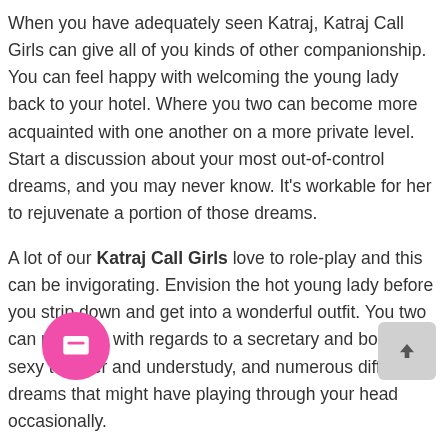When you have adequately seen Katraj, Katraj Call Girls can give all of you kinds of other companionship. You can feel happy with welcoming the young lady back to your hotel. Where you two can become more acquainted with one another on a more private level. Start a discussion about your most out-of-control dreams, and you may never know. It's workable for her to rejuvenate a portion of those dreams.
A lot of our Katraj Call Girls love to role-play and this can be invigorating. Envision the hot young lady before you strip down and get into a wonderful outfit. You two can role-play with regards to a secretary and boss, sexy teacher and understudy, and numerous different dreams that might have playing through your head occasionally.